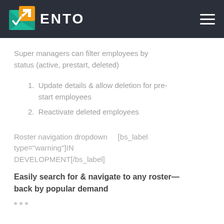ENTO
Super managers can filter employees by status (active, prestart, deleted)
1. Update details & allow deletion for pre-start employees
2. Reactivate deleted employees
Roster navigation dropdown    [bs_label type="warning"]IN DEVELOPMENT[/bs_label]
Easily search for & navigate to any roster—back by popular demand